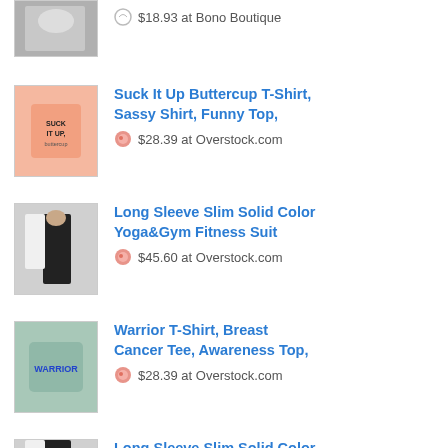[Figure (photo): Partial product image of shoes/clothing at top]
$18.93 at Bono Boutique
[Figure (photo): Pink t-shirt with text 'SUCK IT UP BUTTERCUP']
Suck It Up Buttercup T-Shirt, Sassy Shirt, Funny Top,
$28.39 at Overstock.com
[Figure (photo): Woman in black and white long sleeve fitness outfit]
Long Sleeve Slim Solid Color Yoga&Gym Fitness Suit
$45.60 at Overstock.com
[Figure (photo): Teal/mint t-shirt with WARRIOR text]
Warrior T-Shirt, Breast Cancer Tee, Awareness Top,
$28.39 at Overstock.com
[Figure (photo): Woman in fitness outfit, partial view at bottom]
Long Sleeve Slim Solid Color Yoga&Gym Fitness Suit